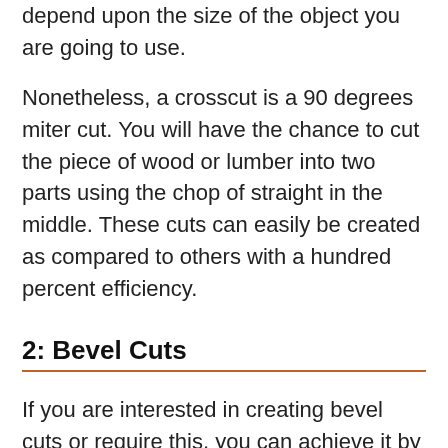depend upon the size of the object you are going to use.
Nonetheless, a crosscut is a 90 degrees miter cut. You will have the chance to cut the piece of wood or lumber into two parts using the chop of straight in the middle. These cuts can easily be created as compared to others with a hundred percent efficiency.
2: Bevel Cuts
If you are interested in creating bevel cuts or require this, you can achieve it by tilting the bevel arm X degrees. It would be much easier to imagine if you put the bevel arm very near